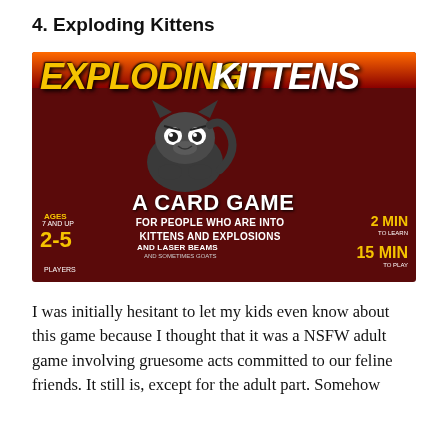4. Exploding Kittens
[Figure (photo): Box cover of the Exploding Kittens card game, showing the game title in large stylized text with flames, a cartoon cat in the center, and game information including 'A Card Game for People Who Are Into Kittens and Explosions and Laser Beams', ages 7 and up, 2-5 players, 2 min to learn, 15 min to play.]
I was initially hesitant to let my kids even know about this game because I thought that it was a NSFW adult game involving gruesome acts committed to our feline friends. It still is, except for the adult part. Somehow